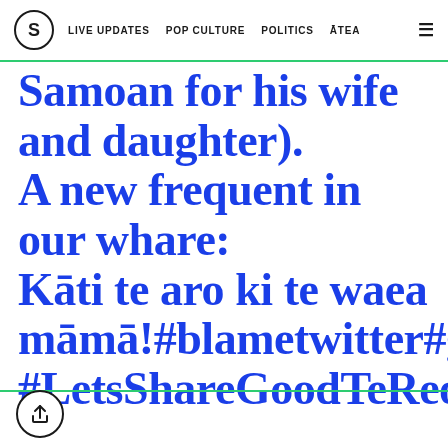S  LIVE UPDATES  POP CULTURE  POLITICS  ĀTEA  ☰
Samoan for his wife and daughter). A new frequent in our whare: Kāti te aro ki te waea māmā!#blametwitter#goodt #LetsShareGoodTeReoStorie